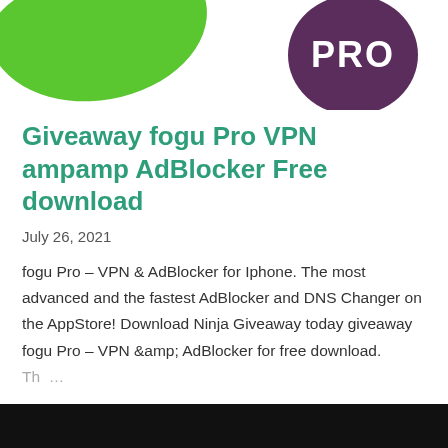[Figure (logo): Logo image: green blob shape on left, dark purple circle with white text 'PRO' on right, top of page]
Giveaway fogu Pro VPN ampamp AdBlocker Free download
July 26, 2021
fogu Pro – VPN & AdBlocker for Iphone. The most advanced and the fastest AdBlocker and DNS Changer on the AppStore! Download Ninja Giveaway today giveaway fogu Pro – VPN &amp; AdBlocker for free download. Th…
SHARE   POST A COMMENT   READ MORE
[Figure (photo): Black bar at the bottom of the page, beginning of another post image]